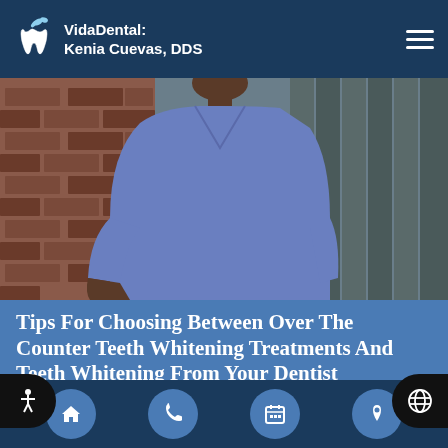VidaDental: Kenia Cuevas, DDS
[Figure (photo): Photo of a man in a blue v-neck t-shirt standing in front of a brick wall and wooden fence, cropped to show torso and lower face]
Tips For Choosing Between Over The Counter Teeth Whitening Treatments And Teeth Whitening From Your Dentist
Teeth whitening is a popular cosmetic dentistry service designed to brighten smiles